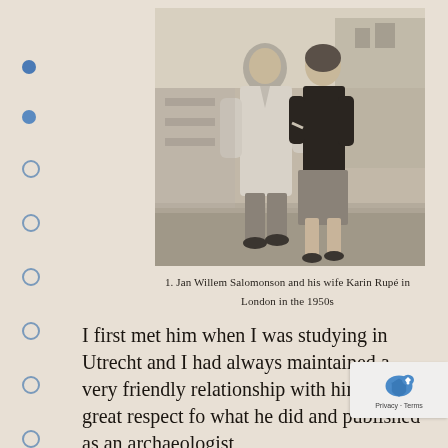[Figure (photo): Black and white photograph of Jan Willem Salomonson and his wife Karin Rupé walking on a street in London in the 1950s. The man wears a long light-colored overcoat and the woman wears a dark jacket and skirt.]
1. Jan Willem Salomonson and his wife Karin Rupé in London in the 1950s
I first met him when I was studying in Utrecht and I had always maintained a very friendly relationship with him and had great respect for what he did and published as an archaeologist